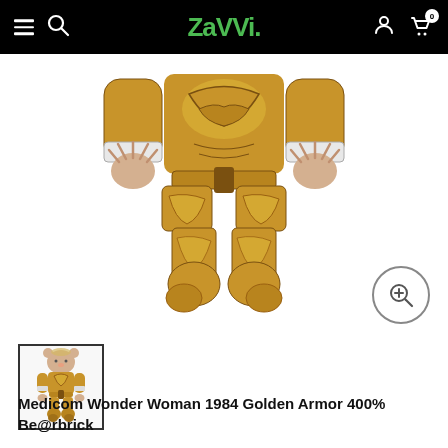Zavvi
[Figure (photo): Medicom Wonder Woman 1984 Golden Armor 400% Be@rbrick collectible figure in gold armor, shown from front torso down, on white background. The figure has gold metallic armor with dark detailing, white wrist bands, and claw-like hands.]
[Figure (photo): Small thumbnail image of the full Medicom Wonder Woman 1984 Golden Armor 400% Be@rbrick figure showing the complete figure including the bear head with blonde hair and full gold armored body.]
Medicom Wonder Woman 1984 Golden Armor 400% Be@rbrick